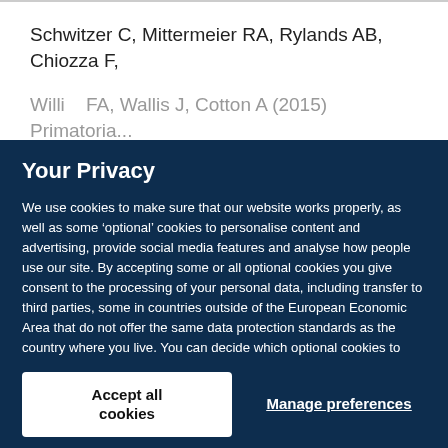Schwitzer C, Mittermeier RA, Rylands AB, Chiozza F,
Willi... FA, Wallis J, Cotton A (2015) Primatoria...
Your Privacy
We use cookies to make sure that our website works properly, as well as some ‘optional’ cookies to personalise content and advertising, provide social media features and analyse how people use our site. By accepting some or all optional cookies you give consent to the processing of your personal data, including transfer to third parties, some in countries outside of the European Economic Area that do not offer the same data protection standards as the country where you live. You can decide which optional cookies to accept by clicking on ‘Manage Settings’, where you can also find more information about how your personal data is processed. Further information can be found in our privacy policy.
Accept all cookies
Manage preferences